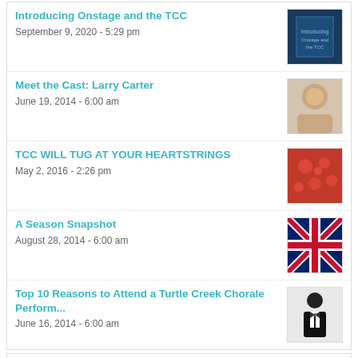Introducing Onstage and the TCC - September 9, 2020 - 5:29 pm
Meet the Cast: Larry Carter - June 19, 2014 - 6:00 am
TCC WILL TUG AT YOUR HEARTSTRINGS - May 2, 2016 - 2:26 pm
A Season Snapshot - August 28, 2014 - 6:00 am
Top 10 Reasons to Attend a Turtle Creek Chorale Perform... - June 16, 2014 - 6:00 am
Recent
Comments
Tags